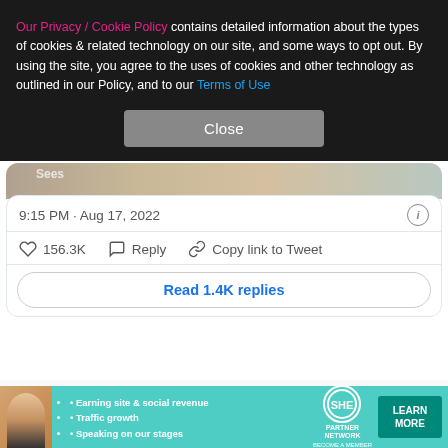Our Privacy / Cookie Policy contains detailed information about the types of cookies & related technology on our site, and some ways to opt out. By using the site, you agree to the uses of cookies and other technology as outlined in our Policy, and to our Terms of Use
[Figure (screenshot): Close button (gray) for cookie overlay dialog]
[Figure (photo): Partial photo visible behind overlay, appears to show a person]
9:15 PM · Aug 17, 2022
156.3K   Reply   Copy link to Tweet
Read 1.4K replies
"I can say for sure that andrew garfield should be in the top 10 wonders of the world," one thirty social media
[Figure (screenshot): SHE Partner Network advertisement banner with woman figure, bullet points: Earning site & social revenue, Traffic growth, Speaking on our stages, and LEARN MORE button]